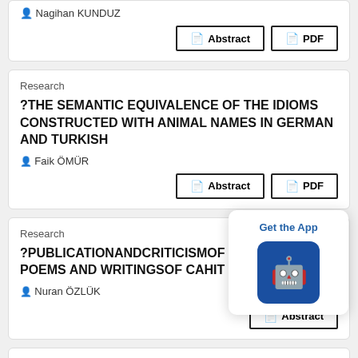Nagihan KUNDUZ
Abstract | PDF
Research
?THE SEMANTIC EQUIVALENCE OF THE IDIOMS CONSTRUCTED WITH ANIMAL NAMES IN GERMAN AND TURKISH
Faik ÖMÜR
Abstract | PDF
Research
?PUBLICATIONANDCRITICISMOF UNPUBLISHED POEMS AND WRITINGSOF CAHIT SITKI TARANCI?
Nuran ÖZLÜK
Abstract
[Figure (screenshot): Get the App popup with Android icon]
Research
DIALECTICS OF SEX IN CARYL CHURCHILL?S TOP GIRLS